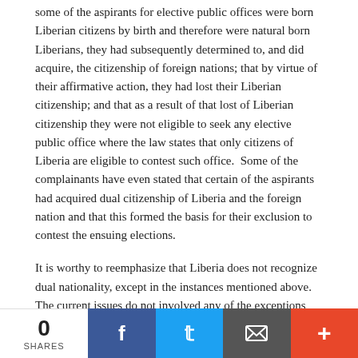some of the aspirants for elective public offices were born Liberian citizens by birth and therefore were natural born Liberians, they had subsequently determined to, and did acquire, the citizenship of foreign nations; that by virtue of their affirmative action, they had lost their Liberian citizenship; and that as a result of that lost of Liberian citizenship they were not eligible to seek any elective public office where the law states that only citizens of Liberia are eligible to contest such office.  Some of the complainants have even stated that certain of the aspirants had acquired dual citizenship of Liberia and the foreign nation and that this formed the basis for their exclusion to contest the ensuing elections.
It is worthy to reemphasize that Liberia does not recognize dual nationality, except in the instances mentioned above.  The current issues do not involved any of the exceptions noted above. Rather, the issue involve allegations of affirmative action taken by certain of the political aspirants in acquiring the citizenship of other nations.  Our Alien and nationality is clear on the issue.  It states, at chapter 22, that a Liberian loses his citizenship automatically and without and proceedings being instituted for that purpose if he or she does any one of the following acts: (a) obtains the naturalization of another state upon his own application, upon the application of an authorized agent, or through the naturalization
0 SHARES | Facebook | Twitter | Email | +